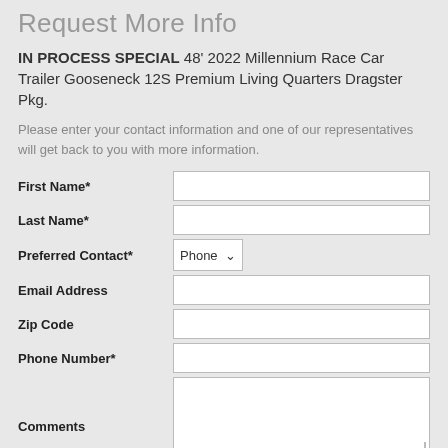Request More Info
IN PROCESS SPECIAL 48' 2022 Millennium Race Car Trailer Gooseneck 12S Premium Living Quarters Dragster Pkg.
Please enter your contact information and one of our representatives will get back to you with more information.
First Name*
Last Name*
Preferred Contact* Phone
Email Address
Zip Code
Phone Number*
Comments
Send me news and exciting information: [checked checkbox]